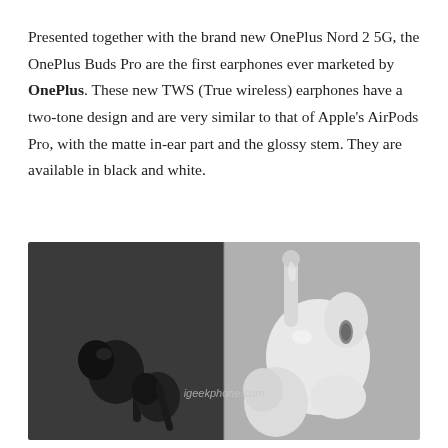Presented together with the brand new OnePlus Nord 2 5G, the OnePlus Buds Pro are the first earphones ever marketed by OnePlus. These new TWS (True wireless) earphones have a two-tone design and are very similar to that of Apple's AirPods Pro, with the matte in-ear part and the glossy stem. They are available in black and white.
[Figure (photo): Side-by-side close-up photo of OnePlus Buds Pro earphones. Left half shows black earbuds on dark grey background. Right half shows white earbuds on light grey background. Watermark 'igeekphone.com' in center.]